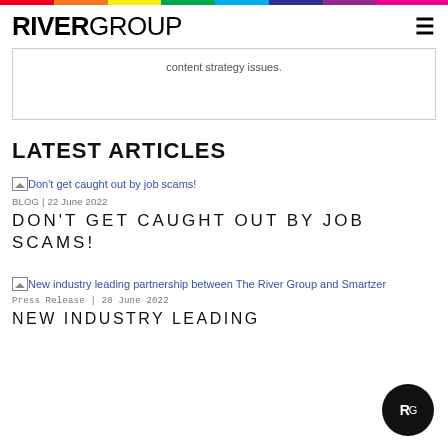RIVERGROUP
content strategy issues.
LATEST ARTICLES
[Figure (other): Broken image placeholder for 'Don't get caught out by job scams!' article thumbnail]
Don't get caught out by job scams!
BLOG | 22 June 2022
DON'T GET CAUGHT OUT BY JOB SCAMS!
[Figure (other): Broken image placeholder for 'New industry leading partnership between The River Group and Smartzer' article thumbnail]
New industry leading partnership between The River Group and Smartzer
Press Release | 28 June 2022
NEW INDUSTRY LEADING PARTNERSHIP BETWEEN THE...